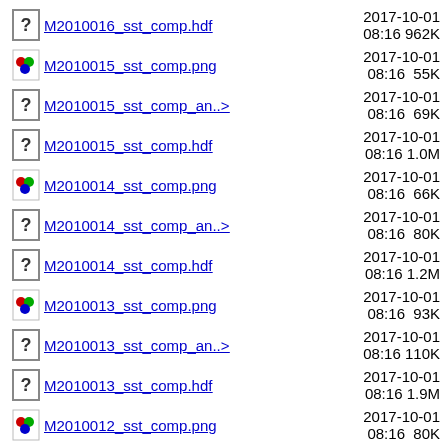M2010016_sst_comp.hdf  2017-10-01 08:16  962K
M2010015_sst_comp.png  2017-10-01 08:16  55K
M2010015_sst_comp_an..>  2017-10-01 08:16  69K
M2010015_sst_comp.hdf  2017-10-01 08:16  1.0M
M2010014_sst_comp.png  2017-10-01 08:16  66K
M2010014_sst_comp_an..>  2017-10-01 08:16  80K
M2010014_sst_comp.hdf  2017-10-01 08:16  1.2M
M2010013_sst_comp.png  2017-10-01 08:16  93K
M2010013_sst_comp_an..>  2017-10-01 08:16  110K
M2010013_sst_comp.hdf  2017-10-01 08:16  1.9M
M2010012_sst_comp.png  2017-10-01 08:16  80K